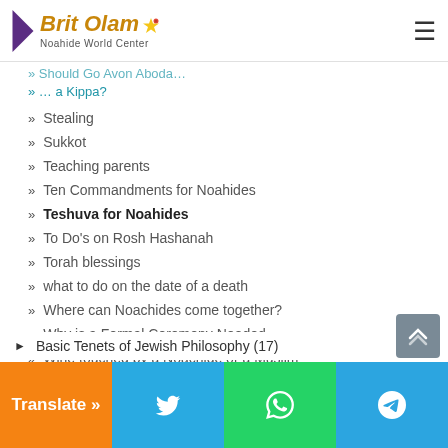[Figure (logo): Brit Olam Noahide World Center logo with purple arrow and star]
» Stealing
» Sukkot
» Teaching parents
» Ten Commandments for Noahides
» Teshuva for Noahides
» To Do's on Rosh Hashanah
» Torah blessings
» what to do on the date of a death
» Where can Noachides come together?
» Why is a Formal Ceremony Needed
» Wine touched by a Noachide or a Muslim
» Witnesses by Noahide wedding
» Women and Prayer
» Work in a Church
» Work on Shabbat
► Basic Tenets of Jewish Philosophy (17)
Translate » | Twitter | WhatsApp | Telegram